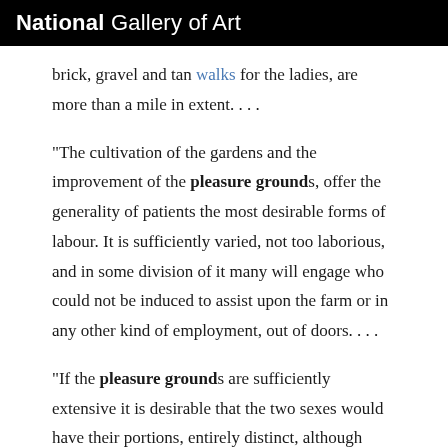National Gallery of Art
brick, gravel and tan walks for the ladies, are more than a mile in extent. . . .
"The cultivation of the gardens and the improvement of the pleasure grounds, offer the generality of patients the most desirable forms of labour. It is sufficiently varied, not too laborious, and in some division of it many will engage who could not be induced to assist upon the farm or in any other kind of employment, out of doors. . . .
"If the pleasure grounds are sufficiently extensive it is desirable that the two sexes would have their portions, entirely distinct, although some parts may